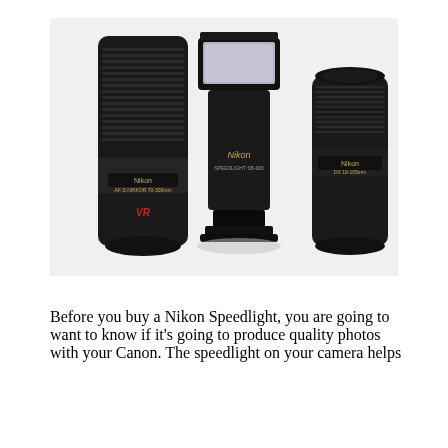[Figure (photo): Photo of two Nikon camera lenses (a tall telephoto lens on the left and a shorter wide-angle lens on the right) flanking a Nikon Speedlight flash unit in the center, all on a white background.]
Before you buy a Nikon Speedlight, you are going to want to know if it's going to produce quality photos with your Canon. The speedlight on your camera helps